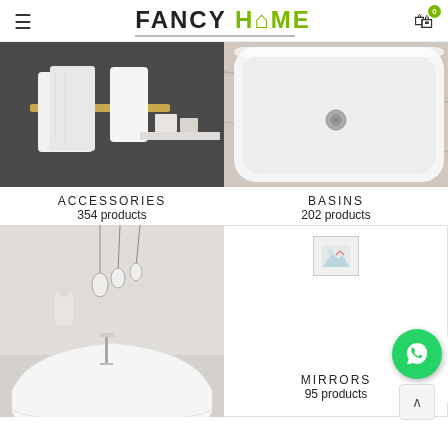FANCY HOME
[Figure (photo): Bathroom accessories photo showing a gold towel bar with white towels hanging on a dark grey wall]
[Figure (photo): White rectangular basin/sink on marble surface, close-up shot]
ACCESSORIES
354 products
BASINS
202 products
[Figure (photo): Freestanding bathtub with floor-mounted chrome faucet and hanging pendant lights in a light grey room]
[Figure (photo): Broken/missing image placeholder for Mirrors category]
MIRRORS
95 products